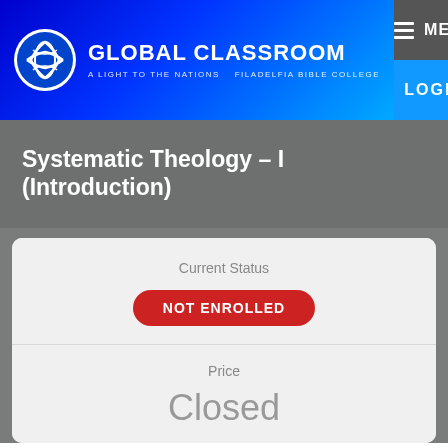GLOBAL CLASSROOM — A LIGHT TO THE NATIONS · FILADELFIA BIBLE COLLEGE
Systematic Theology – I (Introduction)
Current Status
NOT ENROLLED
Price
Closed